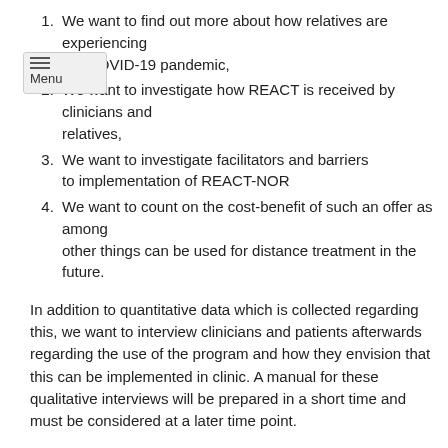We want to find out more about how relatives are experiencing the COVID-19 pandemic,
We want to investigate how REACT is received by clinicians and relatives,
We want to investigate facilitators and barriers to implementation of REACT-NOR
We want to count on the cost-benefit of such an offer as among other things can be used for distance treatment in the future.
In addition to quantitative data which is collected regarding this, we want to interview clinicians and patients afterwards regarding the use of the program and how they envision that this can be implemented in clinic. A manual for these qualitative interviews will be prepared in a short time and must be considered at a later time point.
The goal is, among other things, to contribute to increased knowledge of how abrupt a reduction of offers and the quarantine affects the relatives, how the health care system experiences having to change behaviour with regard to new ways of delivering